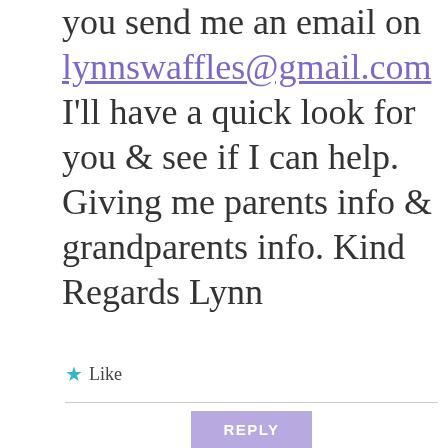you send me an email on lynnswaffles@gmail.com I'll have a quick look for you & see if I can help. Giving me parents info & grandparents info. Kind Regards Lynn
★ Like
REPLY